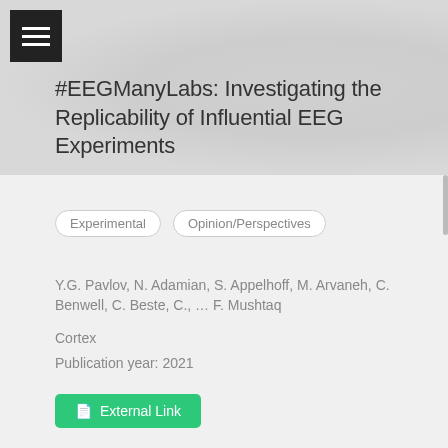[Figure (other): Navigation menu icon (hamburger menu) — three white horizontal lines on dark background square]
#EEGManyLabs: Investigating the Replicability of Influential EEG Experiments
Experimental
Opinion/Perspectives
Y.G. Pavlov, N. Adamian, S. Appelhoff, M. Arvaneh, C. Benwell, C. Beste, C., ... F. Mushtaq
Cortex
Publication year: 2021
External Link